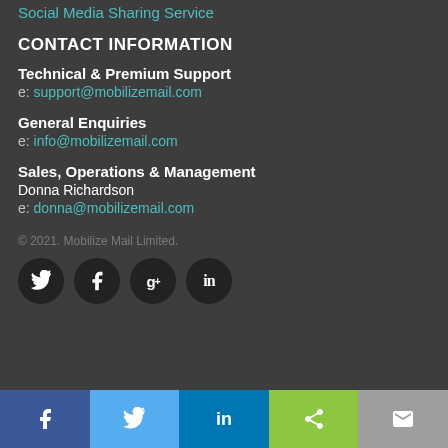Social Media Sharing Service
CONTACT INFORMATION
Technical & Premium Support
e: support@mobilizemail.com
General Enquiries
e: info@mobilizemail.com
Sales, Operations & Management
Donna Richardson
e: donna@mobilizemail.com
© 2021. Mobilize Mail Limited.
[Figure (other): Social media icons: Twitter, Facebook, Google+, LinkedIn]
[Figure (other): Footer share bar with Facebook, Twitter, LinkedIn, Share, and Email buttons]